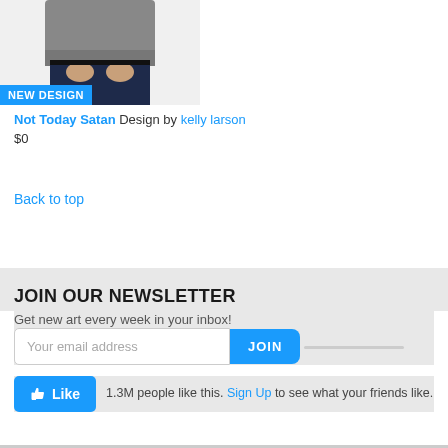[Figure (photo): Product photo showing a person wearing a gray sweatshirt and dark jeans, cropped to torso, with hands in front pockets. Blue 'NEW DESIGN' badge overlaid at bottom left.]
Not Today Satan Design by kelly larson
$0
Back to top
JOIN OUR NEWSLETTER
Get new art every week in your inbox!
Your email address
JOIN
1.3M people like this. Sign Up to see what your friends like.